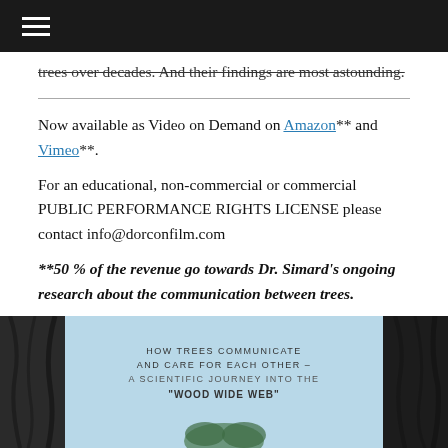≡ (navigation menu)
trees over decades. And their findings are most astounding.
Now available as Video on Demand on Amazon** and Vimeo**.
For an educational, non-commercial or commercial PUBLIC PERFORMANCE RIGHTS LICENSE please contact info@dorconfilm.com
**50 % of the revenue go towards Dr. Simard's ongoing research about the communication between trees.
[Figure (photo): Movie/documentary poster showing dark tree bark framing a light blue center with text: HOW TREES COMMUNICATE AND CARE FOR EACH OTHER – A SCIENTIFIC JOURNEY INTO THE "WOOD WIDE WEB"]